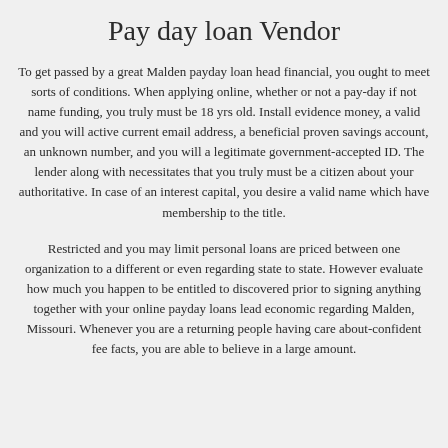Pay day loan Vendor
To get passed by a great Malden payday loan head financial, you ought to meet sorts of conditions. When applying online, whether or not a pay-day if not name funding, you truly must be 18 yrs old. Install evidence money, a valid and you will active current email address, a beneficial proven savings account, an unknown number, and you will a legitimate government-accepted ID. The lender along with necessitates that you truly must be a citizen about your authoritative. In case of an interest capital, you desire a valid name which have membership to the title.
Restricted and you may limit personal loans are priced between one organization to a different or even regarding state to state. However evaluate how much you happen to be entitled to discovered prior to signing anything together with your online payday loans lead economic regarding Malden, Missouri. Whenever you are a returning people having care about-confident fee facts, you are able to believe in a large amount.